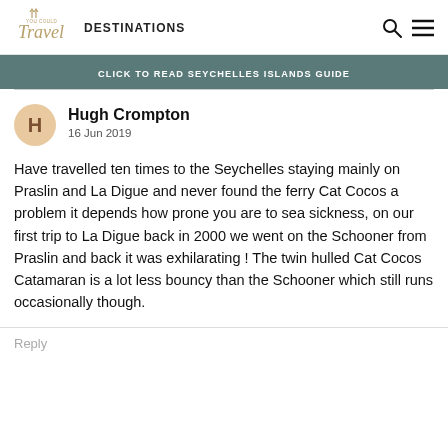You Could Travel — DESTINATIONS
CLICK TO READ SEYCHELLES ISLANDS GUIDE
Hugh Crompton
16 Jun 2019
Have travelled ten times to the Seychelles staying mainly on Praslin and La Digue and never found the ferry Cat Cocos a problem it depends how prone you are to sea sickness, on our first trip to La Digue back in 2000 we went on the Schooner from Praslin and back it was exhilarating ! The twin hulled Cat Cocos Catamaran is a lot less bouncy than the Schooner which still runs occasionally though.
Reply